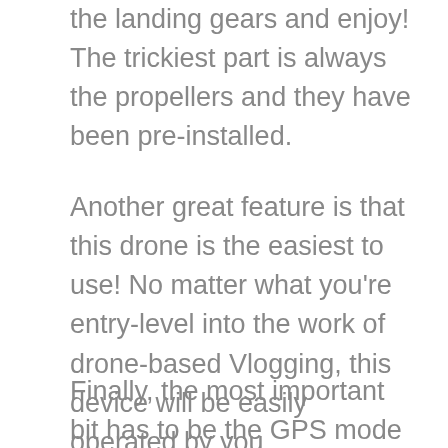the landing gears and enjoy! The trickiest part is always the propellers and they have been pre-installed.
Another great feature is that this drone is the easiest to use! No matter what you're entry-level into the work of drone-based Vlogging, this device will be easily operated by you.
Finally, the most important bit has to be the GPS mode without which the easy and precise positioning would become impossible and you would keep losing the